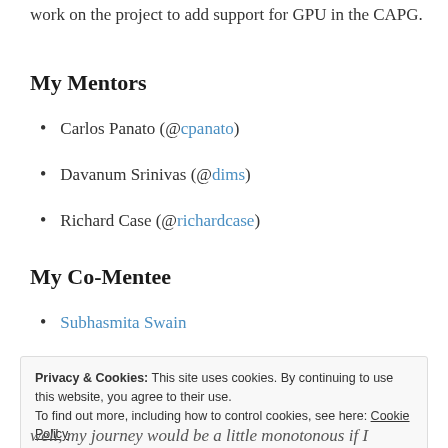work on the project to add support for GPU in the CAPG.
My Mentors
Carlos Panato (@cpanato)
Davanum Srinivas (@dims)
Richard Case (@richardcase)
My Co-Mentee
Subhasmita Swain
Privacy & Cookies: This site uses cookies. By continuing to use this website, you agree to their use. To find out more, including how to control cookies, see here: Cookie Policy
well, my journey would be a little monotonous if I